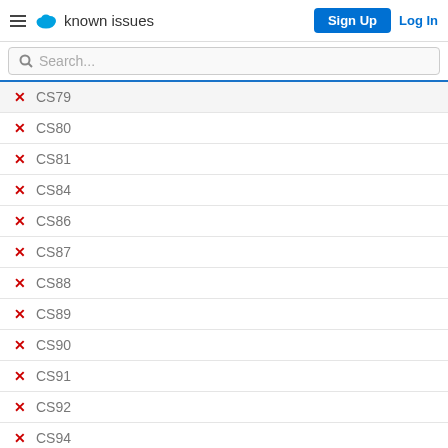known issues — Sign Up | Log In
✗ CS79
✗ CS80
✗ CS81
✗ CS84
✗ CS86
✗ CS87
✗ CS88
✗ CS89
✗ CS90
✗ CS91
✗ CS92
✗ CS94
✗ CS95
✗ CS96
✗ CS97
✗ CS98